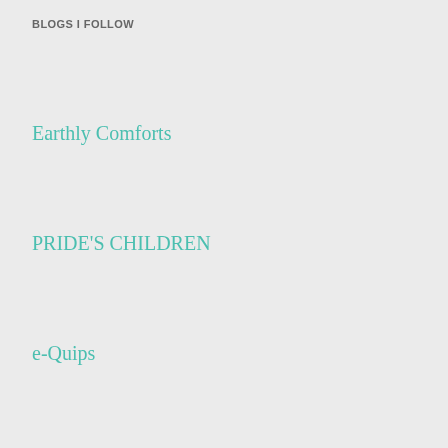BLOGS I FOLLOW
Earthly Comforts
PRIDE'S CHILDREN
e-Quips
Words from JeanMarie
Mystery Deb
THE PRESS | Music Reviews
Filosofa's Word